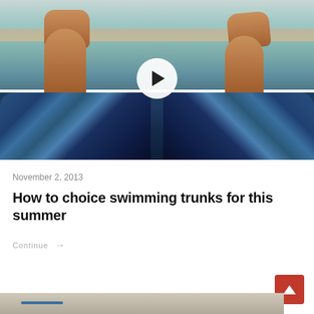[Figure (photo): Photo of a person lying with feet up at a beach, wearing colorful blue swim trunks, feet visible above shallow water, with a play button overlay in the center]
November 2, 2013
How to choice swimming trunks for this summer
Continue →
[Figure (photo): Partial photo visible at bottom of page, appears to be a beach/outdoor scene]